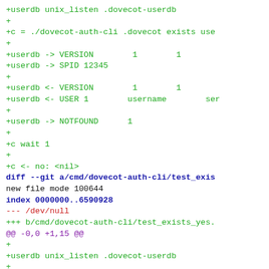+userdb unix_listen .dovecot-userdb
+
+c = ./dovecot-auth-cli .dovecot exists use
+
+userdb -> VERSION        1        1
+userdb -> SPID 12345
+
+userdb <- VERSION        1        1
+userdb <- USER 1        username        ser
+
+userdb -> NOTFOUND      1
+
+c wait 1
+
+c <- no: <nil>
diff --git a/cmd/dovecot-auth-cli/test_exis
new file mode 100644
index 0000000..6590928
--- /dev/null
+++ b/cmd/dovecot-auth-cli/test_exists_yes.
@@ -0,0 +1,15 @@
+
+userdb unix_listen .dovecot-userdb
+
+c = ./dovecot-auth-cli .dovecot exists use